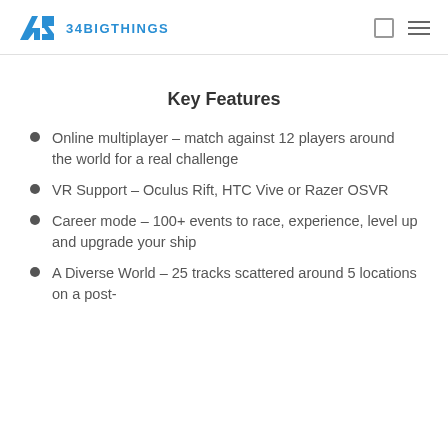34BIGTHINGS
Key Features
Online multiplayer – match against 12 players around the world for a real challenge
VR Support – Oculus Rift, HTC Vive or Razer OSVR
Career mode – 100+ events to race, experience, level up and upgrade your ship
A Diverse World – 25 tracks scattered around 5 locations on a post-